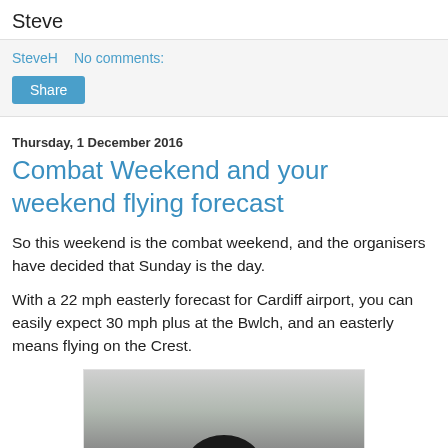Steve
SteveH   No comments:
Share
Thursday, 1 December 2016
Combat Weekend and your weekend flying forecast
So this weekend is the combat weekend, and the organisers have decided that Sunday is the day.
With a 22 mph easterly forecast for Cardiff airport, you can easily expect 30 mph plus at the Bwlch, and an easterly means flying on the Crest.
[Figure (photo): A photograph showing a dark silhouette shape against a grey cloudy sky background]